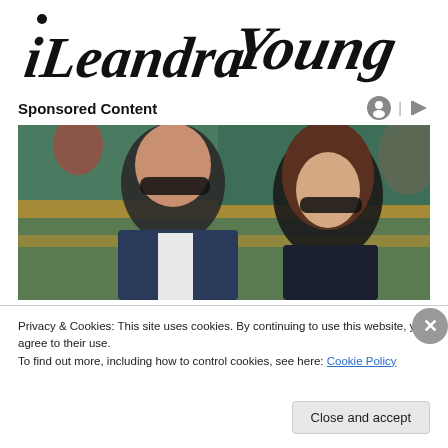iLeandra Young
Sponsored Content
[Figure (photo): Two people wearing sunglasses seated at what appears to be a tennis stadium with green seats. A man in a suit is on the left, a young woman with brown hair is on the right.]
Privacy & Cookies: This site uses cookies. By continuing to use this website, you agree to their use.
To find out more, including how to control cookies, see here: Cookie Policy
Close and accept